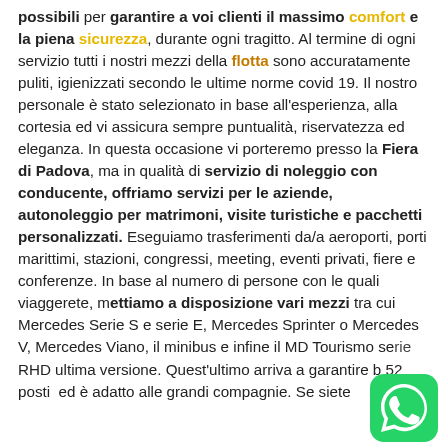possibili per garantire a voi clienti il massimo comfort e la piena sicurezza, durante ogni tragitto. Al termine di ogni servizio tutti i nostri mezzi della flotta sono accuratamente puliti, igienizzati secondo le ultime norme covid 19. Il nostro personale è stato selezionato in base all'esperienza, alla cortesia ed vi assicura sempre puntualità, riservatezza ed eleganza. In questa occasione vi porteremo presso la Fiera di Padova, ma in qualità di servizio di noleggio con conducente, offriamo servizi per le aziende, autonoleggio per matrimoni, visite turistiche e pacchetti personalizzati. Eseguiamo trasferimenti da/a aeroporti, porti marittimi, stazioni, congressi, meeting, eventi privati, fiere e conferenze. In base al numero di persone con le quali viaggerete, mettiamo a disposizione vari mezzi tra cui Mercedes Serie S e serie E, Mercedes Sprinter o Mercedes V, Mercedes Viano, il minibus e infine il MD Tourismo serie RHD ultima versione. Quest'ultimo arriva a garantire b 52 posti ed è adatto alle grandi compagnie. Se siete